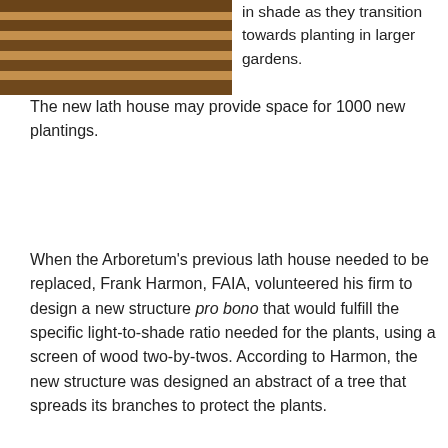[Figure (photo): Close-up photograph of light and shadow stripes on a sandy/textured surface, likely showing sunlight filtering through a lath structure.]
in shade as they transition towards planting in larger gardens.
The new lath house may provide space for 1000 new plantings.
When the Arboretum's previous lath house needed to be replaced, Frank Harmon, FAIA, volunteered his firm to design a new structure pro bono that would fulfill the specific light-to-shade ratio needed for the plants, using a screen of wood two-by-twos. According to Harmon, the new structure was designed an abstract of a tree that spreads its branches to protect the plants.